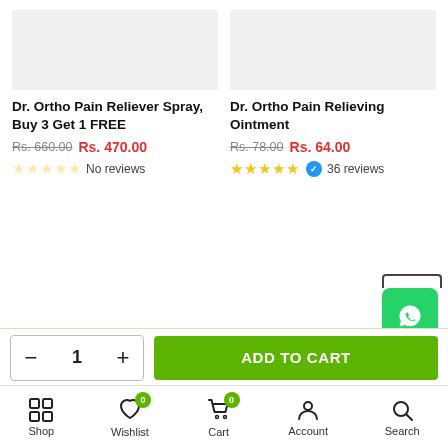[Figure (other): Product image placeholder for Dr. Ortho Pain Reliever Spray]
Dr. Ortho Pain Reliever Spray, Buy 3 Get 1 FREE
Rs. 660.00 Rs. 470.00
No reviews
[Figure (other): Product image placeholder for Dr. Ortho Pain Relieving Ointment]
Dr. Ortho Pain Relieving Ointment
Rs. 78.00 Rs. 64.00
36 reviews
[Figure (logo): WhatsApp floating button icon]
− 1 +
ADD TO CART
Shop  Wishlist 0  Cart 0  Account  Search